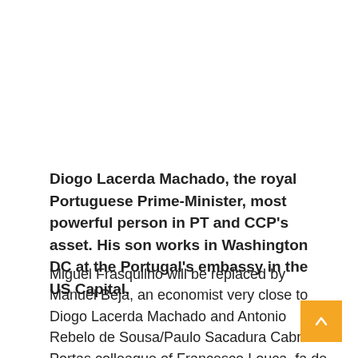Diogo Lacerda Machado, the royal Portuguese Prime-Minister, most powerful person in PT and CCP's asset. His son works in Washington DC at the Portugal's embassy in the US Capital.
Miguel Frasquilho will be replaced by Manuel Beja, an economist very close to Diogo Lacerda Machado and Antonio Rebelo de Sousa/Paulo Sacadura Cabral Portas colleague of Francesco Louca, fa de facto leader.